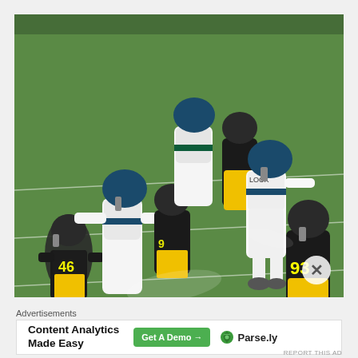[Figure (photo): NFL football game screenshot showing players from the Seattle Seahawks (white jerseys) and Pittsburgh Steelers (dark jerseys with yellow pants). A quarterback wearing jersey number 2 (Seahawks) is visible in the background, while a Steelers defender wearing number 93 rushes toward him. In the foreground, Seahawks offensive linemen block Steelers players including number 46. The action takes place on a green grass field.]
Advertisements
[Figure (screenshot): Advertisement banner: 'Content Analytics Made Easy' with a green 'Get A Demo →' button and Parse.ly branding with a green leaf logo]